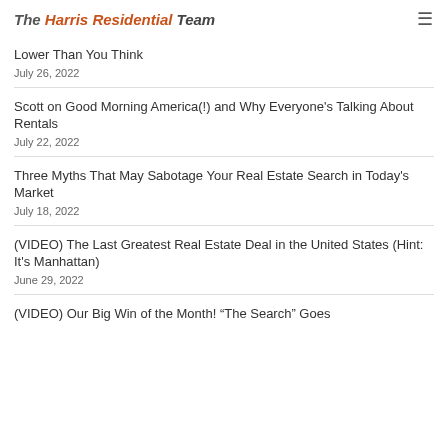The Harris Residential Team
Lower Than You Think
July 26, 2022
Scott on Good Morning America(!) and Why Everyone's Talking About Rentals
July 22, 2022
Three Myths That May Sabotage Your Real Estate Search in Today's Market
July 18, 2022
(VIDEO) The Last Greatest Real Estate Deal in the United States (Hint: It's Manhattan)
June 29, 2022
(VIDEO) Our Big Win of the Month! “The Search” Goes